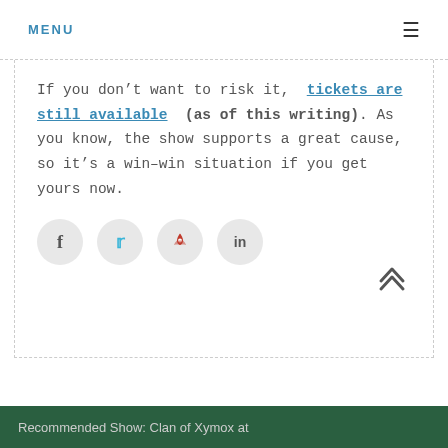MENU
If you don't want to risk it, tickets are still available (as of this writing). As you know, the show supports a great cause, so it's a win-win situation if you get yours now.
[Figure (infographic): Social share buttons: Facebook, Twitter, Pinterest, LinkedIn]
Recommended Show: Clan of Xymox at